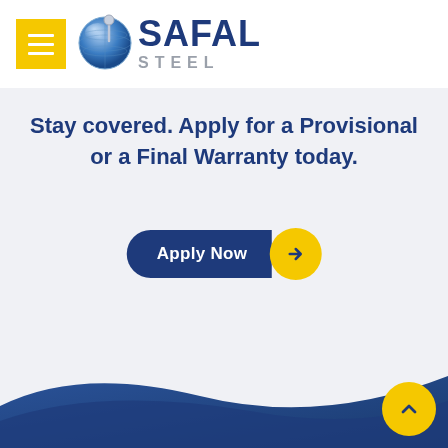[Figure (logo): Safal Steel logo with a globe icon on the left and 'SAFAL STEEL' text on the right, on a white header background with a yellow hamburger menu button]
Stay covered. Apply for a Provisional or a Final Warranty today.
[Figure (other): Apply Now button with dark blue pill-shaped left section reading 'Apply Now' and a yellow circular right section with a right-pointing arrow]
[Figure (illustration): Dark blue wave/sweep shape at the bottom of the page, with a yellow circle scroll-to-top button in the bottom right corner containing an upward-pointing chevron]